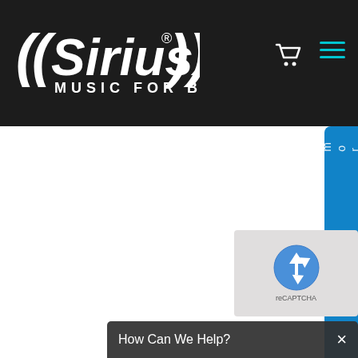[Figure (logo): SiriusXM Music for Business logo — white text and sound wave brackets on black background header bar, with shopping cart icon and teal hamburger menu icon on the right]
[Figure (screenshot): Website screenshot showing SiriusXM Music for Business page. Black header with logo, white main content area, blue side tab partially visible on right with text 'n d m o r e .', a cyan/blue pill shape, gray scroll-to-top button with up arrow, blue 'B' button, reCAPTCHA widget, and dark 'How Can We Help?' chat bar at bottom.]
How Can We Help?